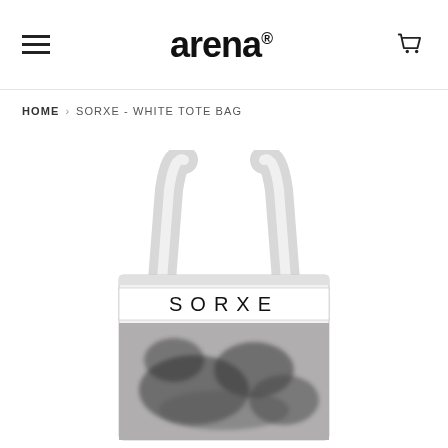arena (logo) with hamburger menu and cart icon
HOME › SORXE - WHITE TOTE BAG
[Figure (photo): White canvas tote bag with 'SORXE' text printed on the front panel, hanging by its strap against a white background. The bag has a graphic print below the text.]